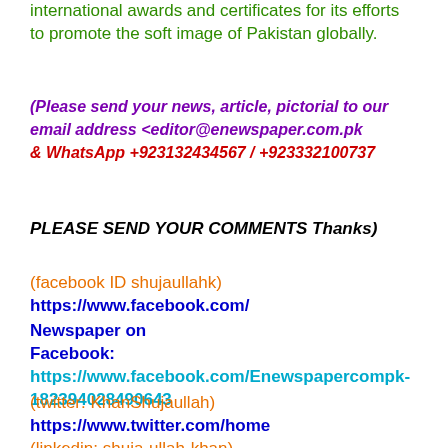international awards and certificates for its efforts to promote the soft image of Pakistan globally.
(Please send your news, article, pictorial to our email address <editor@enewspaper.com.pk & WhatsApp +923132434567 / +923332100737
PLEASE SEND YOUR COMMENTS Thanks)
(facebook ID shujaullahk) https://www.facebook.com/
Newspaper on Facebook:  https://www.facebook.com/Enewspapercompk-182394028490643
(twitter: KhanShujaullah) https://www.twitter.com/home
(linkedin: shuja-ullah-khan) https://www.linkedin.com/feed